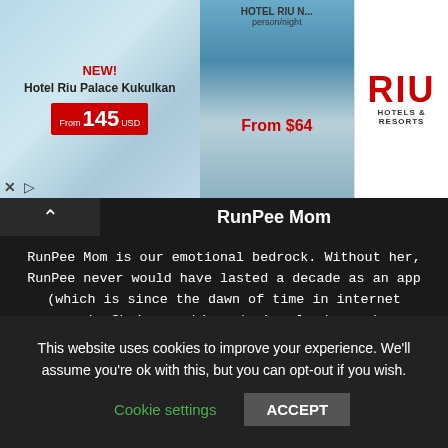[Figure (screenshot): Advertisement banner for Hotel Riu Palace Kukulkan showing beach resort imagery. Left section shows 'NEW! Hotel Riu Palace Kukulkan' with price 'From 145 USD' in red box. Middle section shows hotel building with 'HOTEL RIU N... person/night' and 'From $64' in red. Right section shows RIU HOTELS & RESORTS logo in red.]
RunPee Mom
RunPee Mom is our emotional bedrock. Without her, RunPee never would have lasted a decade as an app (which is since the dawn of time in internet years). She's our biggest cheerleader and an unending source of unconditional love. She works cheerfully and tirelessly, seeing any movie we ask of her, writing interesting reviews, and being our…well…MOM. Her genres of choice: kiddie flicks, animated movies, emotional dramas, historical features, war films, diverse biographies, and even dense, diabolically plotted thrillers. She knows more about famous and infamous figures in history than said figures
This website uses cookies to improve your experience. We'll assume you're ok with this, but you can opt-out if you wish.
Cookie settings   ACCEPT